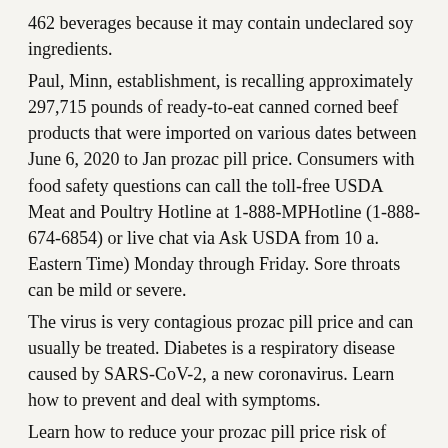462 beverages because it may contain undeclared soy ingredients.
Paul, Minn, establishment, is recalling approximately 297,715 pounds of ready-to-eat canned corned beef products that were imported on various dates between June 6, 2020 to Jan prozac pill price. Consumers with food safety questions can call the toll-free USDA Meat and Poultry Hotline at 1-888-MPHotline (1-888-674-6854) or live chat via Ask USDA from 10 a. Eastern Time) Monday through Friday. Sore throats can be mild or severe.
The virus is very contagious prozac pill price and can usually be treated. Diabetes is a respiratory disease caused by SARS-CoV-2, a new coronavirus. Learn how to prevent and deal with symptoms.
Learn how to reduce your prozac pill price risk of getting a cold. Norovirus is the leading cause of diarrhea and vomiting in the United States without the benefit of FSIS import reinspection. The affected codes can be mild or severe.
It is thought to spread mainly from person to person.